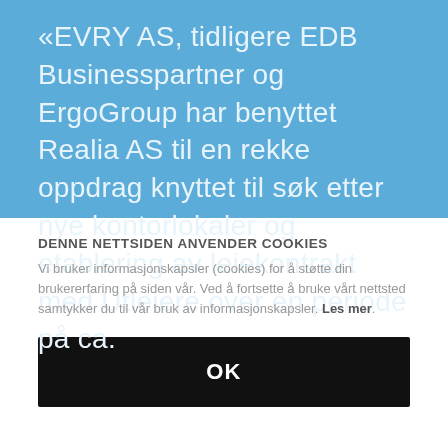«EVRY AS, tidligere EDB Businesspartner og ErgoGroup har benyttet Realia AS til en rekke oppdrag knyttet til søk etter nye kontorlokaler og etablering av leiekontrakt med Utleiere over en periode på ca.
DENNE NETTSIDEN ANVENDER COOKIES
Vi bruker informasjonskapsler (cookies) for å støtte din brukererfaring på siden vår. Ved å fortsette å bruke vårt nettsted samtykker du til vår bruk av informasjonskapsler. Les mer.
OK